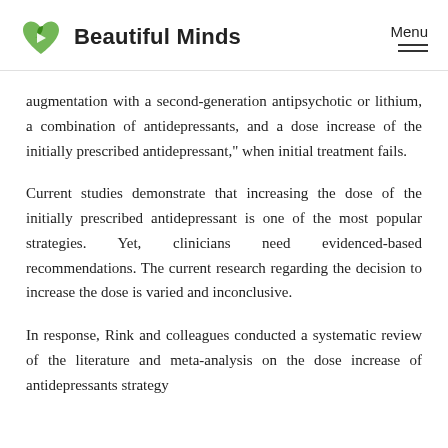Beautiful Minds | Menu
augmentation with a second-generation antipsychotic or lithium, a combination of antidepressants, and a dose increase of the initially prescribed antidepressant," when initial treatment fails.
Current studies demonstrate that increasing the dose of the initially prescribed antidepressant is one of the most popular strategies. Yet, clinicians need evidenced-based recommendations. The current research regarding the decision to increase the dose is varied and inconclusive.
In response, Rink and colleagues conducted a systematic review of the literature and meta-analysis on the dose increase of antidepressants strategy